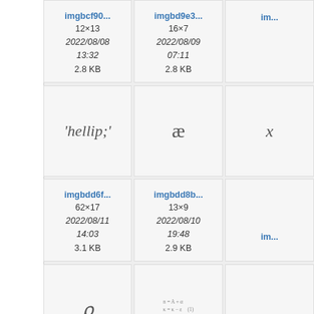[Figure (screenshot): File browser grid showing image thumbnails with names, dimensions, dates, and sizes. Row 1: imgbcf90... (12×13, 2022/08/08 13:32, 2.8 KB), imgbd9e3... (16×7, 2022/08/09 07:11, 2.8 KB), partial third column. Row 2: image previews showing italic text '&hellip;' (hellip with quotes), 'æ', and partial third. Row 3: imgbdd6f... (62×17, 2022/08/11 14:03, 3.1 KB), imgbdd8b... (13×9, 2022/08/10 19:48, 2.9 KB), partial. Row 4: image previews showing rho symbol, small formula text, partial third. Row 5: imgbe265..., imgbed07..., partial third.]